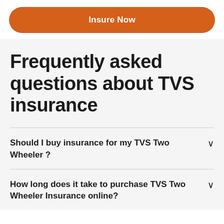Insure Now
Frequently asked questions about TVS insurance
Should I buy insurance for my TVS Two Wheeler ?
How long does it take to purchase TVS Two Wheeler Insurance online?